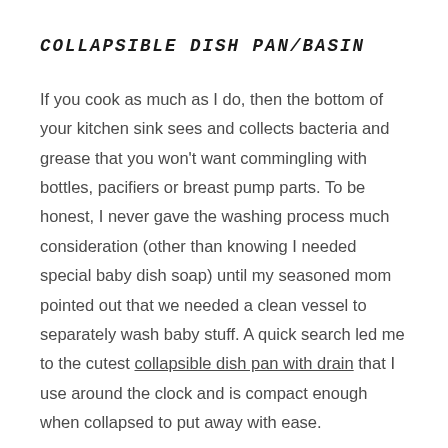COLLAPSIBLE DISH PAN/BASIN
If you cook as much as I do, then the bottom of your kitchen sink sees and collects bacteria and grease that you won't want commingling with bottles, pacifiers or breast pump parts. To be honest, I never gave the washing process much consideration (other than knowing I needed special baby dish soap) until my seasoned mom pointed out that we needed a clean vessel to separately wash baby stuff. A quick search led me to the cutest collapsible dish pan with drain that I use around the clock and is compact enough when collapsed to put away with ease.